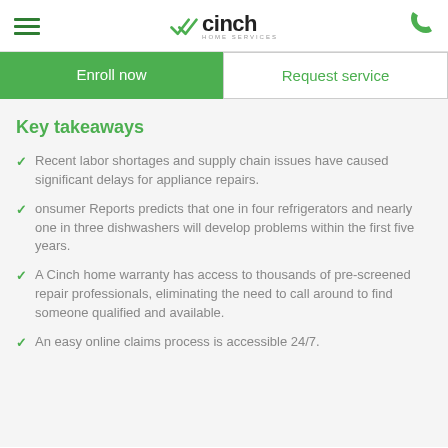Cinch Home Services — navigation header with hamburger menu and phone icon
Enroll now
Request service
Key takeaways
Recent labor shortages and supply chain issues have caused significant delays for appliance repairs.
onsumer Reports predicts that one in four refrigerators and nearly one in three dishwashers will develop problems within the first five years.
A Cinch home warranty has access to thousands of pre-screened repair professionals, eliminating the need to call around to find someone qualified and available.
An easy online claims process is accessible 24/7.